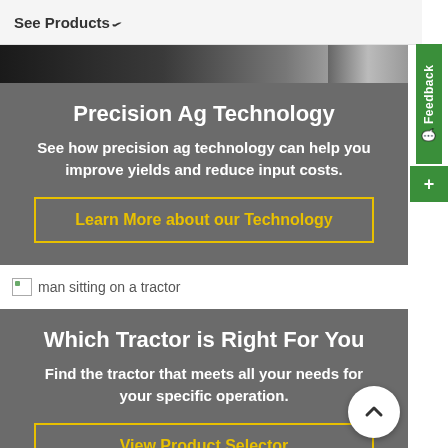See Products
[Figure (photo): Partial photo strip showing a keyboard and hands, dark background]
Precision Ag Technology
See how precision ag technology can help you improve yields and reduce input costs.
Learn More about our Technology
[Figure (photo): Broken image placeholder: man sitting on a tractor]
Which Tractor is Right For You
Find the tractor that meets all your needs for your specific operation.
View Product Selector